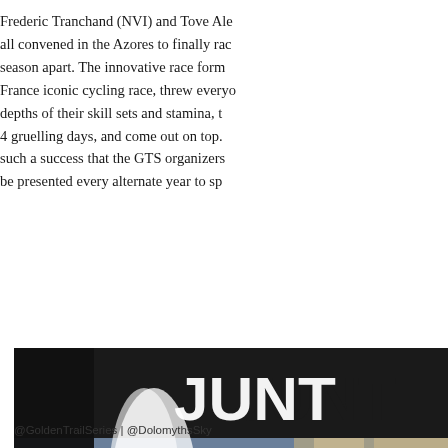Frederic Tranchand (NVI) and Tove Ale all convened in the Azores to finally rac season apart. The innovative race form France iconic cycling race, threw everyo depths of their skill sets and stamina, t 4 gruelling days, and come out on top. such a success that the GTS organizers be presented every alternate year to sp
[Figure (photo): A runner crossing the finish line at Golden Trail Series / Dolomyths Skyrace event. A woman in traditional Austrian dress holds the finish tape, confetti and smoke cannons firing. Timer shows 0:29. Banners for Golden Trail Series and Dolomyths visible.]
@GoldenTrailSeries | @DolomythsSky